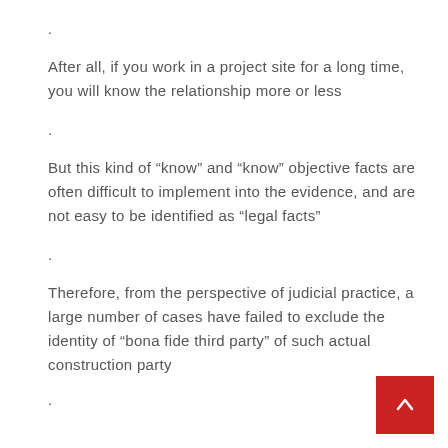.
After all, if you work in a project site for a long time, you will know the relationship more or less
.
But this kind of “know” and “know” objective facts are often difficult to implement into the evidence, and are not easy to be identified as “legal facts”
.
Therefore, from the perspective of judicial practice, a large number of cases have failed to exclude the identity of “bona fide third party” of such actual construction party
.